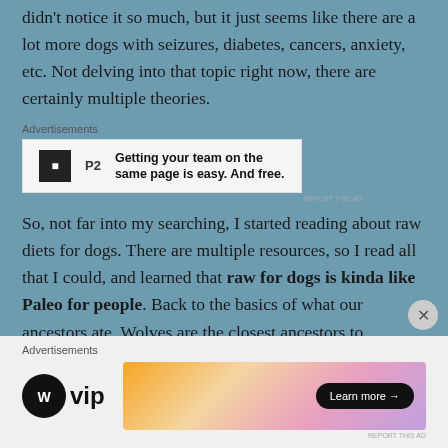didn't notice it so much, but it just seems like there are a lot more dogs with seizures, diabetes, cancers, anxiety, etc. Not delving into that topic right now, there are certainly multiple theories.
[Figure (screenshot): Advertisement box for P2 product: logo with 'P2' text and ad copy 'Getting your team on the same page is easy. And free.']
So, not far into my searching, I started reading about raw diets for dogs. There are multiple resources, so I read all that I could, and learned that raw for dogs is kinda like Paleo for people. Back to the basics of what our ancestors ate. Wolves are the closest ancestors to
[Figure (screenshot): Advertisement bar at bottom: WordPress VIP logo on the left and a colorful gradient banner with 'Learn more →' button on the right.]